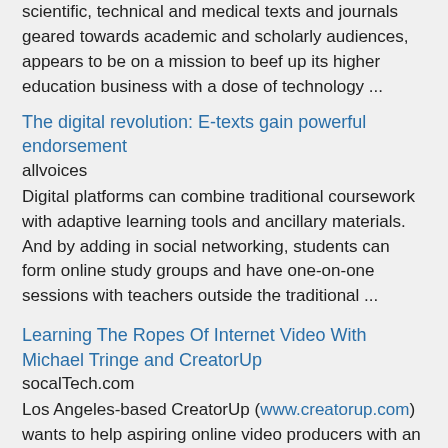scientific, technical and medical texts and journals geared towards academic and scholarly audiences, appears to be on a mission to beef up its higher education business with a dose of technology ...
The digital revolution: E-texts gain powerful endorsement
allvoices
Digital platforms can combine traditional coursework with adaptive learning tools and ancillary materials. And by adding in social networking, students can form online study groups and have one-on-one sessions with teachers outside the traditional ...
Learning The Ropes Of Internet Video With Michael Tringe and CreatorUp
socalTech.com
Los Angeles-based CreatorUp (www.creatorup.com) wants to help aspiring online video producers with an online web education series. We spoke with ... The teachers are people who have done really well in the digital space, and give you instant feedback.
[Figure (illustration): Broken/missing image icon (small placeholder image)]